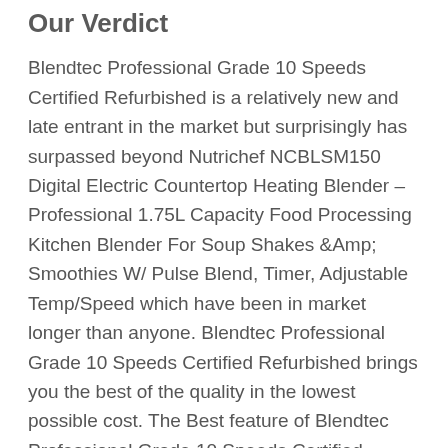Our Verdict
Blendtec Professional Grade 10 Speeds Certified Refurbished is a relatively new and late entrant in the market but surprisingly has surpassed beyond Nutrichef NCBLSM150 Digital Electric Countertop Heating Blender – Professional 1.75L Capacity Food Processing Kitchen Blender For Soup Shakes &Amp; Smoothies W/ Pulse Blend, Timer, Adjustable Temp/Speed which have been in market longer than anyone. Blendtec Professional Grade 10 Speeds Certified Refurbished brings you the best of the quality in the lowest possible cost. The Best feature of Blendtec Professional Grade 10 Speeds Certified Refurbished is what has kept in the market.
It certainly makes appearance in Reviews of Cooking Blender With Heat in 2020 owing to its price penetration strategy in the market. If you own a Cooking Blender With